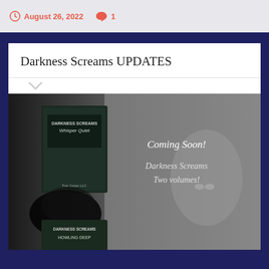August 26, 2022  1
Darkness Screams UPDATES
[Figure (photo): Promotional image for Darkness Screams anthology. Left side shows book covers including 'Darkness Screams: Whisper Quiet' by Fox Corps LLC and a second volume 'Darkness Screams: Howling Deep'. Right side shows a dark grey background with a ghostly face impression and white text reading 'Coming Soon! Darkness Screams Two volumes!']